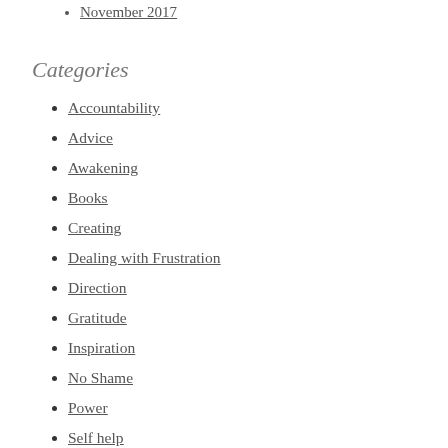November 2017
Categories
Accountability
Advice
Awakening
Books
Creating
Dealing with Frustration
Direction
Gratitude
Inspiration
No Shame
Power
Self help
Self C…